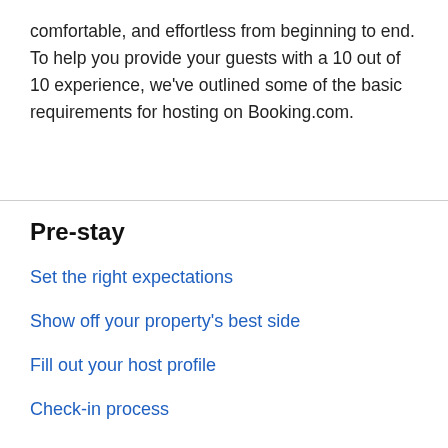comfortable, and effortless from beginning to end. To help you provide your guests with a 10 out of 10 experience, we've outlined some of the basic requirements for hosting on Booking.com.
Pre-stay
Set the right expectations
Show off your property's best side
Fill out your host profile
Check-in process
Stay
Provide a personalized experience